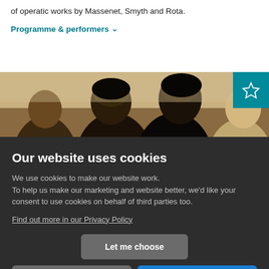of operatic works by Massenet, Smyth and Rota.
Programme & performers ∨
[Figure (photo): Photo of children/audience members looking upward, in a performance venue setting]
Our website uses cookies
We use cookies to make our website work. To help us make our marketing and website better, we'd like your consent to use cookies on behalf of third parties too.
Find out more in our Privacy Policy
Let me choose
Essential only
Yes, that's fine